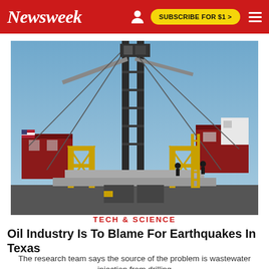Newsweek
[Figure (photo): Oil drilling rig against a blue sky, with yellow scaffolding, cranes, and workers visible on the platform structure.]
TECH & SCIENCE
Oil Industry Is To Blame For Earthquakes In Texas
The research team says the source of the problem is wastewater injection from drilling